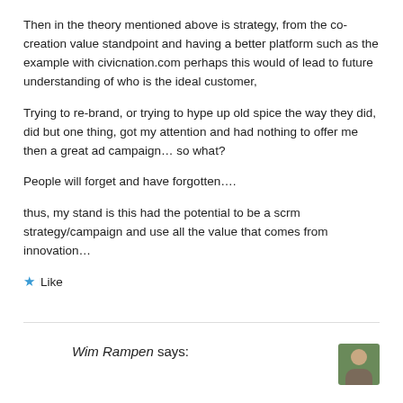Then in the theory mentioned above is strategy, from the co-creation value standpoint and having a better platform such as the example with civicnation.com perhaps this would of lead to future understanding of who is the ideal customer,
Trying to re-brand, or trying to hype up old spice the way they did, did but one thing, got my attention and had nothing to offer me then a great ad campaign… so what?
People will forget and have forgotten….
thus, my stand is this had the potential to be a scrm strategy/campaign and use all the value that comes from innovation…
★ Like
Wim Rampen says: